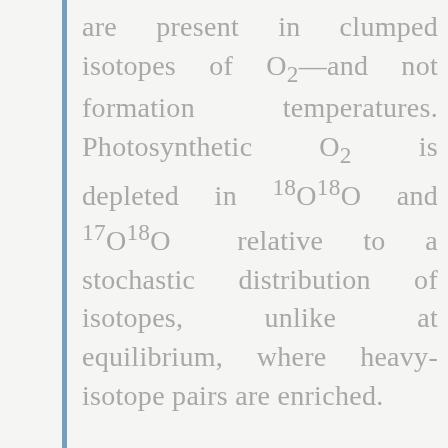are present in clumped isotopes of O2—and not formation temperatures. Photosynthetic O2 is depleted in 18O18O and 17O18O relative to a stochastic distribution of isotopes, unlike at equilibrium, where heavy-isotope pairs are enriched.